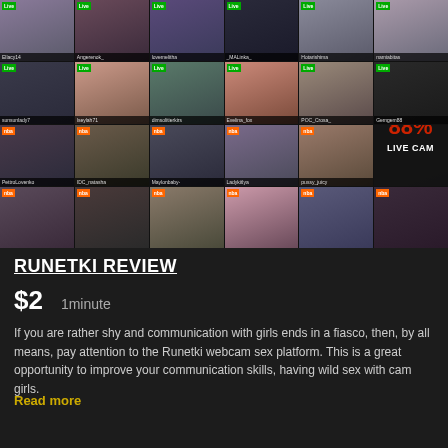[Figure (screenshot): Screenshot of Runetki live cam website showing a grid of female webcam performers with viewer counts, tags, and a score overlay showing 88% and LIVE CAM label]
RUNETKI REVIEW
$2   1minute
If you are rather shy and communication with girls ends in a fiasco, then, by all means, pay attention to the Runetki webcam sex platform. This is a great opportunity to improve your communication skills, having wild sex with cam girls.
Read more